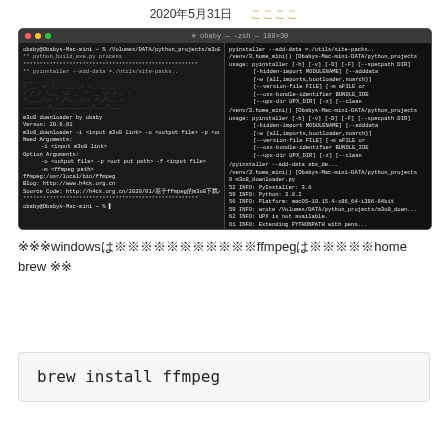2020年5月31日　ここここ
[Figure (screenshot): Terminal window showing m3u8 downloader tool running on Mac, with ASCII art logo and command output on left pane, and additional terminal output on right pane.]
※※※windowsは※※※※※※※※※※※ffmpegは※※※※※home brew ※※
brew install ffmpeg